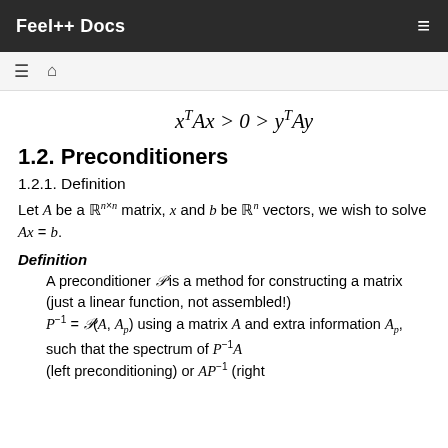Feel++ Docs
1.2. Preconditioners
1.2.1. Definition
Let A be a ℝ^{n×n} matrix, x and b be ℝ^n vectors, we wish to solve Ax = b.
Definition
A preconditioner 𝒫 is a method for constructing a matrix (just a linear function, not assembled!) P^{-1} = 𝒫(A, A_p) using a matrix A and extra information A_p, such that the spectrum of P^{-1}A (left preconditioning) or AP^{-1} (right...